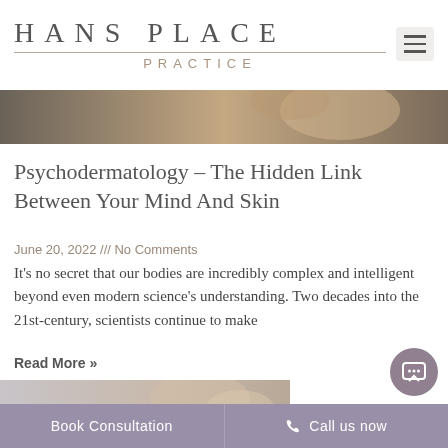HANS PLACE PRACTICE
[Figure (photo): Partial view of a person's face/hair, used as a hero banner image for the blog article]
Psychodermatology – The Hidden Link Between Your Mind And Skin
June 20, 2022 /// No Comments
It's no secret that our bodies are incredibly complex and intelligent beyond even modern science's understanding. Two decades into the 21st-century, scientists continue to make
Read More »
[Figure (photo): Partial view of a person's face, second article image cropped at bottom of page]
Book Consultation   Call us now